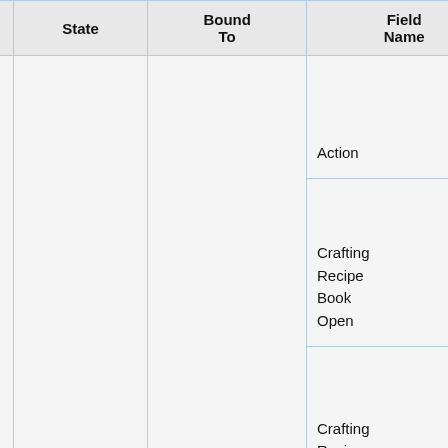| Packet ID | State | Bound To | Field Name | Field Type |
| --- | --- | --- | --- | --- |
|  |  |  | Action | VarInt |
|  |  |  | Crafting Recipe Book Open | Boolean |
|  |  |  | Crafting Recipe Book | Boolean |